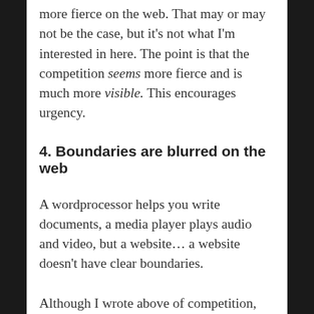more fierce on the web. That may or may not be the case, but it's not what I'm interested in here. The point is that the competition seems more fierce and is much more visible. This encourages urgency.
4. Boundaries are blurred on the web
A wordprocessor helps you write documents, a media player plays audio and video, but a website… a website doesn't have clear boundaries.
Although I wrote above of competition, exactly who is a competitor on the web is